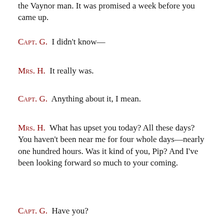the Vaynor man. It was promised a week before you came up.
Capt. G.  I didn't know—
Mrs. H.  It really was.
Capt. G.  Anything about it, I mean.
Mrs. H.  What has upset you today? All these days? You haven't been near me for four whole days—nearly one hundred hours. Was it kind of you, Pip? And I've been looking forward so much to your coming.
Capt. G.  Have you?